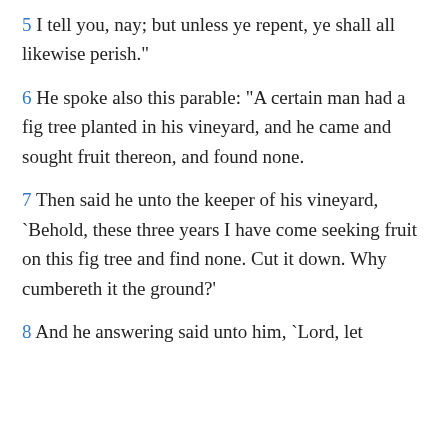5 I tell you, nay; but unless ye repent, ye shall all likewise perish."
6 He spoke also this parable: "A certain man had a fig tree planted in his vineyard, and he came and sought fruit thereon, and found none.
7 Then said he unto the keeper of his vineyard, `Behold, these three years I have come seeking fruit on this fig tree and find none. Cut it down. Why cumbereth it the ground?'
8 And he answering said unto him, `Lord, let